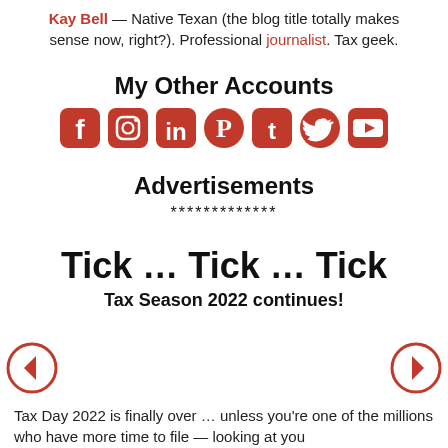Kay Bell — Native Texan (the blog title totally makes sense now, right?). Professional journalist. Tax geek.
My Other Accounts
[Figure (illustration): Row of social media icons: Facebook, Instagram, LinkedIn, Pinterest, Tumblr, Twitter, YouTube — all in red]
Advertisements
*************
Tick … Tick … Tick
Tax Season 2022 continues!
Tax Day 2022 is finally over … unless you're one of the millions who have more time to file — looking at you